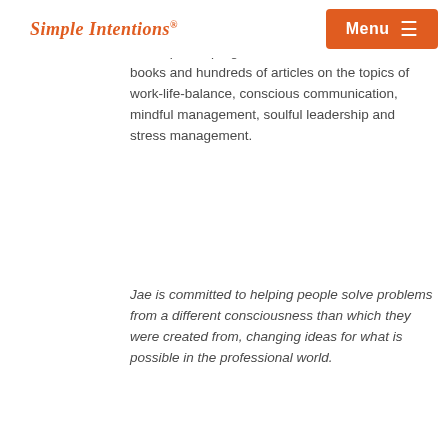Simple Intentions® | Menu
organizational effectiveness, and has created over 20 research-based learning and development programs and authored seven books and hundreds of articles on the topics of work-life-balance, conscious communication, mindful management, soulful leadership and stress management.
Jae is committed to helping people solve problems from a different consciousness than which they were created from, changing ideas for what is possible in the professional world.